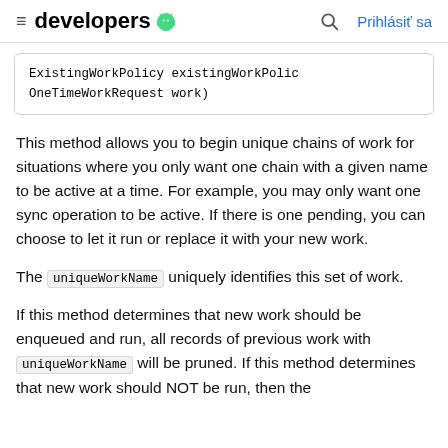developers [android logo] [search] Prihlásiť sa
[Figure (screenshot): Code snippet box showing: ExistingWorkPolicy existingWorkPolic OneTimeWorkRequest work)]
This method allows you to begin unique chains of work for situations where you only want one chain with a given name to be active at a time. For example, you may only want one sync operation to be active. If there is one pending, you can choose to let it run or replace it with your new work.
The uniqueWorkName uniquely identifies this set of work.
If this method determines that new work should be enqueued and run, all records of previous work with uniqueWorkName will be pruned. If this method determines that new work should NOT be run, then the ...